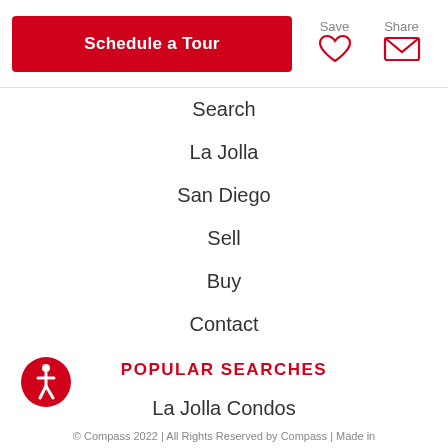Schedule a Tour | Save | Share
Search
La Jolla
San Diego
Sell
Buy
Contact
POPULAR SEARCHES
La Jolla Condos
Del Mar
Rancho Santa Fe
Pacific Beach
Coronado
© Compass 2022 | All Rights Reserved by Compass | Made in